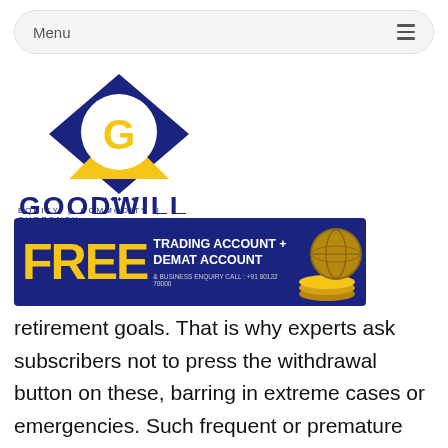Menu
[Figure (logo): Goodwill logo with blue diamond shape, gold G letter, gold triangle base, and text GOODWILL EQUITY | COMMODITY | CURRENCY]
[Figure (infographic): Banner advertisement: FREE TRADING ACCOUNT + DEMAT ACCOUNT & BUSINESS ENQUIRY CALL: +91 80122 78000, blue background with gold coins and globe]
retirement goals. That is why experts ask subscribers not to press the withdrawal button on these, barring in extreme cases or emergencies. Such frequent or premature withdrawal is just one of the mistakes that can hurt your retirement goals and plans. Here are other money mistakes that will adversely impact your retirement and financial well-being in old age.